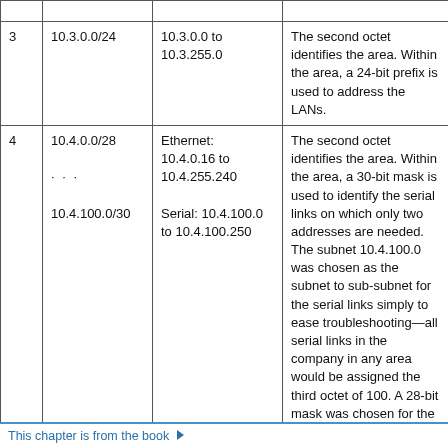|  | Subnet | Range | Description |
| --- | --- | --- | --- |
| 3 | 10.3.0.0/24 | 10.3.0.0 to
10.3.255.0 | The second octet identifies the area. Within the area, a 24-bit prefix is used to address the LANs. |
| 4 | 10.4.0.0/28
...
10.4.100.0/30 | Ethernet: 10.4.0.16 to 10.4.255.240

Serial: 10.4.100.0 to 10.4.100.250 | The second octet identifies the area. Within the area, a 30-bit mask is used to identify the serial links on which only two addresses are needed. The subnet 10.4.100.0 was chosen as the subnet to sub-subnet for the serial links simply to ease troubleshooting—all serial links in the company in any area would be assigned the third octet of 100. A 28-bit mask was chosen for the Ethernet connections to allow the creation of ... |
This chapter is from the book